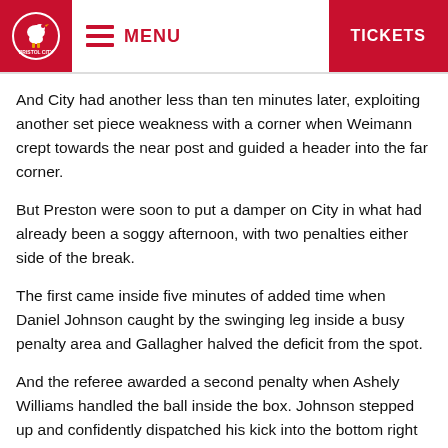MENU  TICKETS
And City had another less than ten minutes later, exploiting another set piece weakness with a corner when Weimann crept towards the near post and guided a header into the far corner.
But Preston were soon to put a damper on City in what had already been a soggy afternoon, with two penalties either side of the break.
The first came inside five minutes of added time when Daniel Johnson caught by the swinging leg inside a busy penalty area and Gallagher halved the deficit from the spot.
And the referee awarded a second penalty when Ashely Williams handled the ball inside the box. Johnson stepped up and confidently dispatched his kick into the bottom right corner with Daniel Bentley sent the wrong way.
Now was the question of City’s mental strength having seen their early two-goal lead cancelled out.